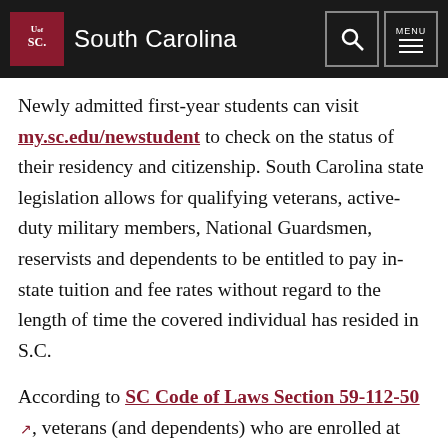University of South Carolina
Newly admitted first-year students can visit my.sc.edu/newstudent to check on the status of their residency and citizenship. South Carolina state legislation allows for qualifying veterans, active-duty military members, National Guardsmen, reservists and dependents to be entitled to pay in-state tuition and fee rates without regard to the length of time the covered individual has resided in S.C.
According to SC Code of Laws Section 59-112-50, veterans (and dependents) who are enrolled at S.C. public institutions of higher education and receive education assistance under Chapter 30 , Chapter 33, or Chapter 31, Title 38, of the U. S. Code are entitled to pay in-state tuition and